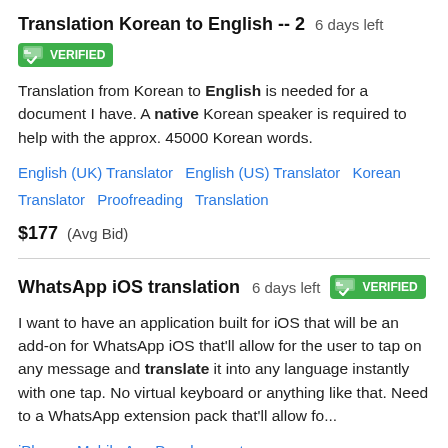Translation Korean to English -- 2   6 days left
[Figure (other): Green verified badge with checkmark icon and text VERIFIED]
Translation from Korean to English is needed for a document I have. A native Korean speaker is required to help with the approx. 45000 Korean words.
English (UK) Translator   English (US) Translator   Korean Translator   Proofreading   Translation
$177  (Avg Bid)
WhatsApp iOS translation   6 days left   VERIFIED
I want to have an application built for iOS that will be an add-on for WhatsApp iOS that'll allow for the user to tap on any message and translate it into any language instantly with one tap. No virtual keyboard or anything like that. Need to a WhatsApp extension pack that'll allow fo...
iPhone   Mobile App Development